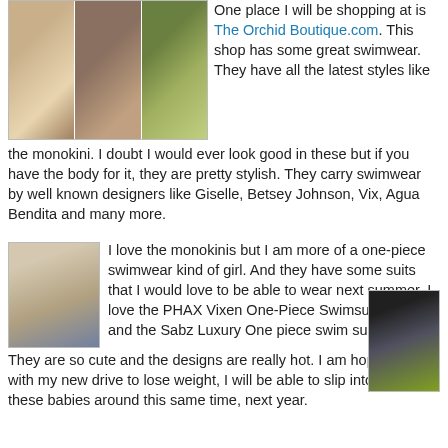[Figure (photo): Collage of three photos showing swimwear models in bikinis and floral swimsuits]
One place I will be shopping at is The Orchid Boutique.com. This shop has some great swimwear. They have all the latest styles like the monokini. I doubt I would ever look good in these but if you have the body for it, they are pretty stylish. They carry swimwear by well known designers like Giselle, Betsey Johnson, Vix, Agua Bendita and many more.
[Figure (photo): Woman in white one-piece halter swimsuit standing near water]
I love the monokinis but I am more of a one-piece swimwear kind of girl. And they have some suits that I would love to be able to wear next summer. I love the PHAX Vixen One-Piece Swimsuit (right) and the Sabz Luxury One piece swim suit (left). They are so cute and the designs are really hot. I am hoping that with my new drive to lose weight, I will be able to slip into one of these babies around this same time, next year.
[Figure (photo): Woman in black and white patterned one-piece swimsuit]